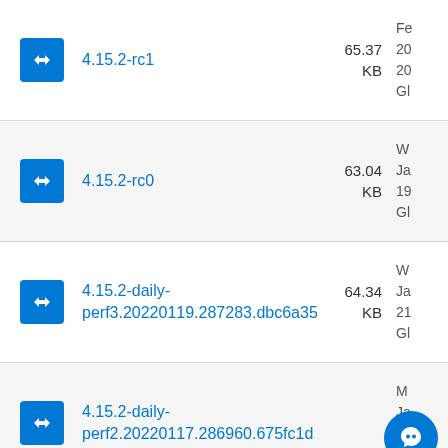4.15.2-rc1 | 65.37 KB | Fe 20 20 Gl
4.15.2-rc0 | 63.04 KB | W Ja 19 Gl
4.15.2-daily-perf3.20220119.287283.dbc6a35 | 64.34 KB | W Ja 21 Gl
4.15.2-daily-perf2.20220117.286960.675fc1d | M Ja 18 Gl